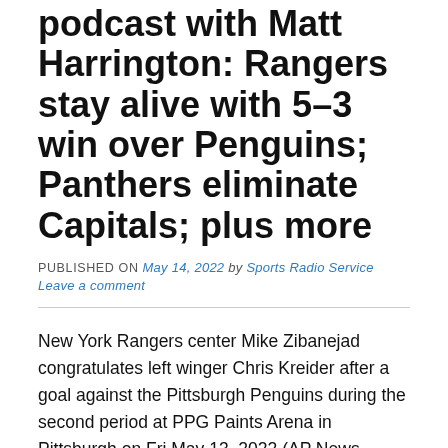podcast with Matt Harrington: Rangers stay alive with 5–3 win over Penguins; Panthers eliminate Capitals; plus more
PUBLISHED ON May 14, 2022 by Sports Radio Service
Leave a comment
New York Rangers center Mike Zibanejad congratulates left winger Chris Kreider after a goal against the Pittsburgh Penguins during the second period at PPG Paints Arena in Pittsburgh on Fri May 13, 2022 (AP News photo)
On the NHL podcast with Matt:
#1 The New York Rangers avoided getting eliminated as Chris Krieder scored a third period goal at 1:28 that broke a 3-3 deadlock